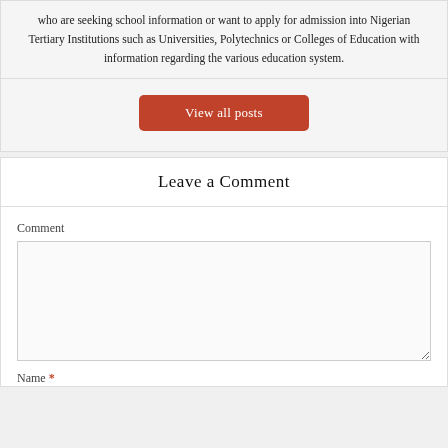who are seeking school information or want to apply for admission into Nigerian Tertiary Institutions such as Universities, Polytechnics or Colleges of Education with information regarding the various education system.
[Figure (other): Orange/red rounded button labeled 'View all posts']
Leave a Comment
Comment
Name *